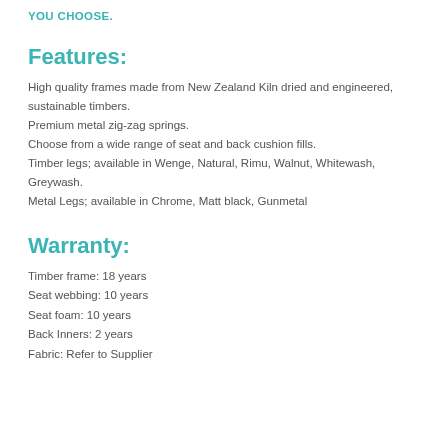YOU CHOOSE.
Features:
High quality frames made from New Zealand Kiln dried and engineered, sustainable timbers.
Premium metal zig-zag springs.
Choose from a wide range of seat and back cushion fills.
Timber legs; available in Wenge, Natural, Rimu, Walnut, Whitewash, Greywash.
Metal Legs; available in Chrome, Matt black, Gunmetal
Warranty:
Timber frame: 18 years
Seat webbing: 10 years
Seat foam: 10 years
Back Inners: 2 years
Fabric: Refer to Supplier